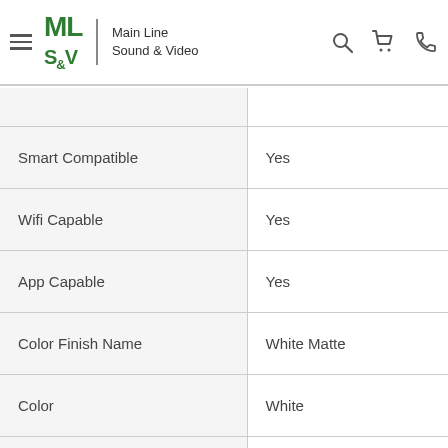Main Line Sound & Video
|  |  |
| --- | --- |
| Smart Compatible | Yes |
| Wifi Capable | Yes |
| App Capable | Yes |
| Color Finish Name | White Matte |
| Color | White |
| Collection | Pulse |
| Product Weight (lbs.) | 11.11 |